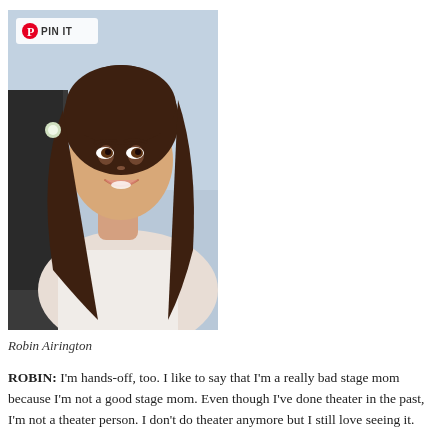[Figure (photo): A smiling brunette woman at a wedding, wearing a white strapless dress, with a man in a suit visible behind her. A Pinterest 'PIN IT' badge is overlaid in the top-left corner of the photo.]
Robin Airington
ROBIN: I'm hands-off, too. I like to say that I'm a really bad stage mom because I'm not a good stage mom. Even though I've done theater in the past, I'm not a theater person. I don't do theater anymore but I still love seeing it.